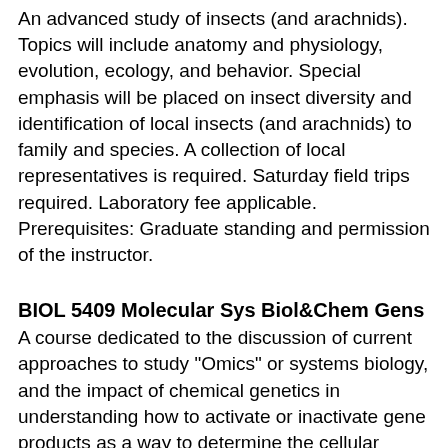An advanced study of insects (and arachnids). Topics will include anatomy and physiology, evolution, ecology, and behavior. Special emphasis will be placed on insect diversity and identification of local insects (and arachnids) to family and species. A collection of local representatives is required. Saturday field trips required. Laboratory fee applicable.
Prerequisites: Graduate standing and permission of the instructor.
BIOL 5409 Molecular Sys Biol&Chem Gens
A course dedicated to the discussion of current approaches to study "Omics" or systems biology, and the impact of chemical genetics in understanding how to activate or inactivate gene products as a way to determine the cellular